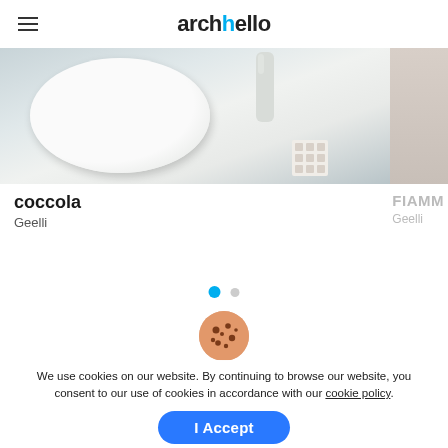archello
[Figure (photo): Close-up photo of a white oval bathroom basin/sink on a dark grey surface, with accessories in the background. Partially visible second image on the right edge.]
coccola
Geelli
FIAMM
Geelli
[Figure (infographic): Pagination dots: one blue filled circle and one grey smaller circle]
[Figure (illustration): Cookie icon: a round cookie with chocolate chip spots in brown/orange colors]
We use cookies on our website. By continuing to browse our website, you consent to our use of cookies in accordance with our cookie policy.
I Accept